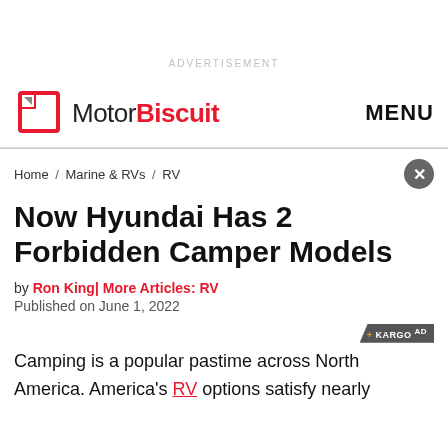ADVERTISEMENT
MotorBiscuit  MENU
Home / Marine & RVs / RV
Now Hyundai Has 2 Forbidden Camper Models
by Ron King | More Articles: RV
Published on June 1, 2022
Camping is a popular pastime across North America. America's RV options satisfy nearly